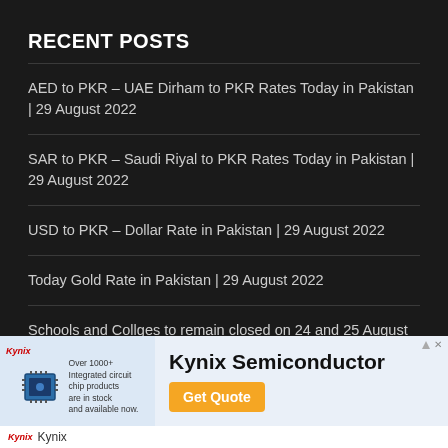RECENT POSTS
AED to PKR – UAE Dirham to PKR Rates Today in Pakistan | 29 August 2022
SAR to PKR – Saudi Riyal to PKR Rates Today in Pakistan | 29 August 2022
USD to PKR – Dollar Rate in Pakistan | 29 August 2022
Today Gold Rate in Pakistan | 29 August 2022
Schools and Collges to remain closed on 24 and 25 August across Sindh
[Figure (other): Kynix Semiconductor advertisement banner with chip image, company name, and Get Quote button]